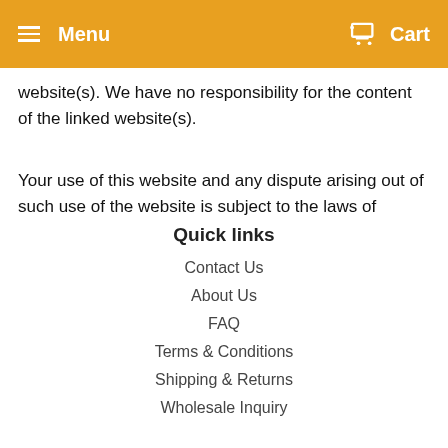Menu  Cart
website(s). We have no responsibility for the content of the linked website(s).
Your use of this website and any dispute arising out of such use of the website is subject to the laws of Canada.
Quick links
Contact Us
About Us
FAQ
Terms & Conditions
Shipping & Returns
Wholesale Inquiry